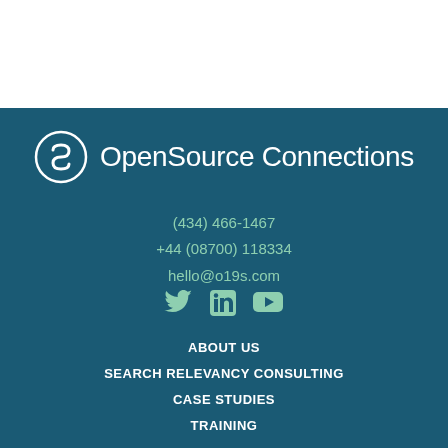[Figure (logo): OpenSource Connections logo with circular icon and company name in white on teal background]
(434) 466-1467
+44 (08700) 118334
hello@o19s.com
[Figure (infographic): Social media icons: Twitter, LinkedIn, YouTube in green/teal color]
ABOUT US
SEARCH RELEVANCY CONSULTING
CASE STUDIES
TRAINING